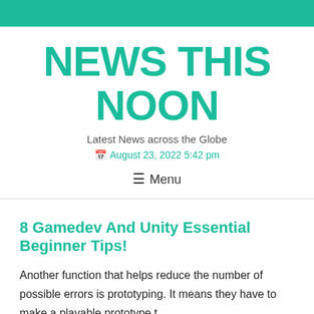NEWS THIS NOON
Latest News across the Globe
August 23, 2022 5:42 pm
≡ Menu
8 Gamedev And Unity Essential Beginner Tips!
Another function that helps reduce the number of possible errors is prototyping. It means they have to make a playable prototype t…